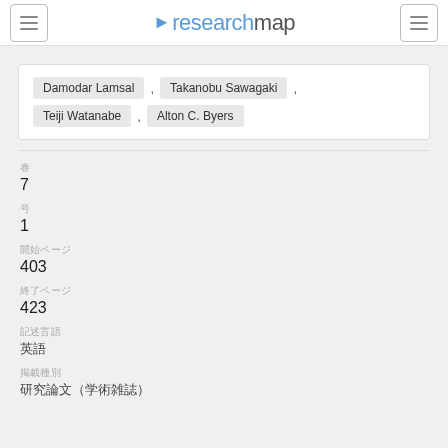researchmap
Damodar Lamsal , Takanobu Sawagaki , Teiji Watanabe , Alton C. Byers
巻
7
号
1
開始ページ
403
終了ページ
423
記述言語
英語
掲載種別
研究論文（学術雑誌）